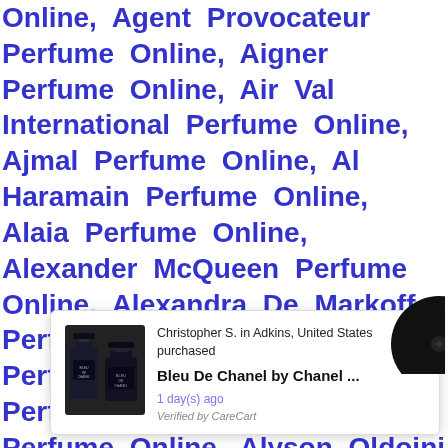Online, Agent Provocateur Perfume Online, Aigner Perfume Online, Air Val International Perfume Online, Ajmal Perfume Online, Al Haramain Perfume Online, Alaia Perfume Online, Alexander McQueen Perfume Online, Alexandra De Markoff Perfume Online, Alexandre J Perfume Online, Alfred Dunhill Perfume Online, Alfred Sung Perfume Online, Alyson Oldoini Perfume Online, Alyssa Ashley Perfume Online, American Beauty Perfume Online, A... Perfume Online, A...proud Perfume Online, Ange... ale Perfume Online, Anne Klein Perfume Online, Annick Goutal Perfume
[Figure (other): Popup notification showing a product purchase. Contains image of Bleu De Chanel perfume bottles (dark/black bottles), text 'Christopher S. in Adkins, United States purchased', product name 'Bleu De Chanel by Chanel ...', time '1 day(s) ago', and 'Verified by CareCart' label. Close button (×) in top right corner.]